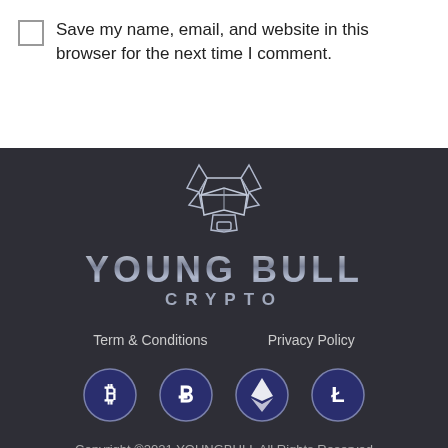Save my name, email, and website in this browser for the next time I comment.
[Figure (logo): Young Bull Crypto logo — geometric bull head in chrome/silver style above the text YOUNG BULL CRYPTO]
Term & Conditions    Privacy Policy
[Figure (infographic): Four circular dark blue cryptocurrency icons: Bitcoin (B with circles), Bitcoin (b), Ethereum (diamond), Litecoin (L)]
Copyright ©2021 YOUNGBULL All Rights Reserved